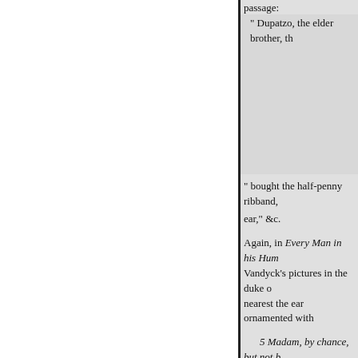passage:
" Dupatzo, the elder brother, th[...]
" bought the half-penny ribband,[...]
ear," &c.
Again, in Every Man in his Hum[our,] Vandyck's pictures in the duke o[f] nearest the ear ornamented with
5 Madam, by chance, but not b[y] honesty-what then?
6 Something about, a little fro[m] obscure. I am, says the spritely k[...] wishes the legal way. He that da[...] to whom the door is shut, must c[...] for the world never enquires how have however it was caught, and near the mark, or far off it. JOH[N]
? Now your traveller,-) It is sa[...]